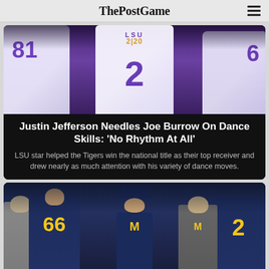ThePostGame
[Figure (photo): LSU football players in white and purple jerseys numbered 81, 2, and 6]
Justin Jefferson Needles Joe Burrow On Dance Skills: 'No Rhythm At All'
LSU star helped the Tigers win the national title as their top receiver and drew nearly as much attention with his variety of dance moves.
[Figure (photo): Michigan football coach and players in navy blue and yellow uniforms, jersey numbers 66 and 2 visible]